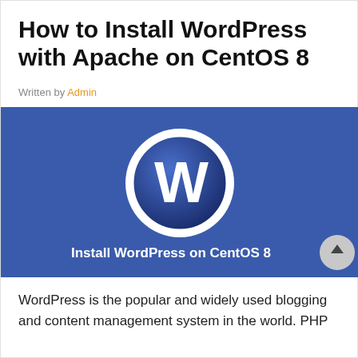How to Install WordPress with Apache on CentOS 8
Written by Admin
[Figure (illustration): Hero banner with blue background showing the WordPress logo (circle with W) and the text 'Install WordPress on CentOS 8' in white bold text at the bottom.]
WordPress is the popular and widely used blogging and content management system in the world. PHP